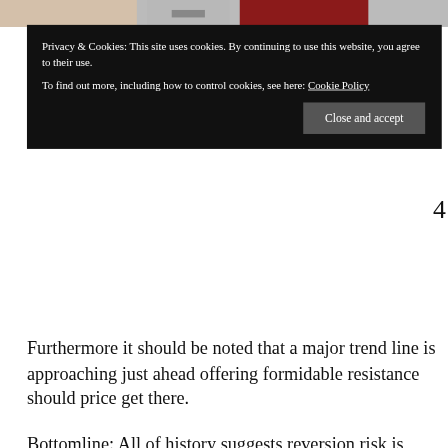[Figure (screenshot): Top strip with partial images of three thumbnails (light beige, grey/silver, dark red)]
Privacy & Cookies: This site uses cookies. By continuing to use this website, you agree to their use.
To find out more, including how to control cookies, see here: Cookie Policy
Close and accept
Furthermore it should be noted that a major trend line is approaching just ahead offering formidable resistance should price get there.
Bottomline: All of history suggests reversion risk is building as imbalances are building.
For the latest public analysis please visit NorthmanTrader. To subscribe to our market products please visit Services.
All content is provided as information only and should not